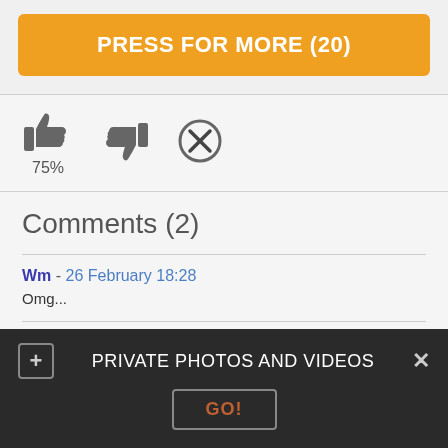PRESS FOR MORE (20)
[Figure (infographic): Thumbs up icon, thumbs down icon, and X/cancel icon with 75% rating label]
Comments (2)
Wm - 26 February 18:28
Omg...
Bessie - 29 October 10:30
looks great!!!
Buzzo - 14 August 22:29
PRIVATE PHOTOS AND VIDEOS
GO!